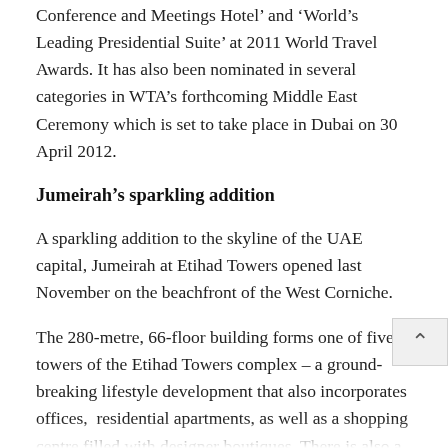Conference and Meetings Hotel' and 'World's Leading Presidential Suite' at 2011 World Travel Awards. It has also been nominated in several categories in WTA's forthcoming Middle East Ceremony which is set to take place in Dubai on 30 April 2012.
Jumeirah's sparkling addition
A sparkling addition to the skyline of the UAE capital, Jumeirah at Etihad Towers opened last November on the beachfront of the West Corniche.
The 280-metre, 66-floor building forms one of five towers of the Etihad Towers complex – a ground-breaking lifestyle development that also incorporates offices, residential apartments, as well as a shopping centre filled with designer boutiques. There is also a private beach, conference centre and a full range of gourmet restaurants